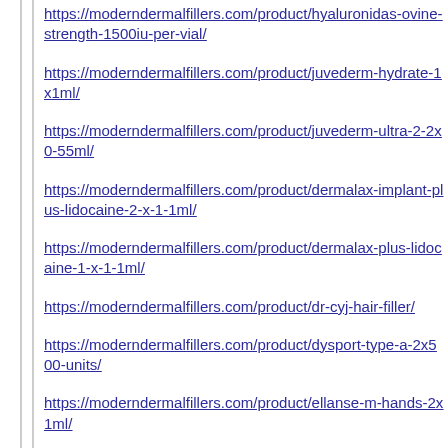https://moderndermalfillers.com/product/hyaluronidas-ovine-strength-1500iu-per-vial/
https://moderndermalfillers.com/product/juvederm-hydrate-1x1ml/
https://moderndermalfillers.com/product/juvederm-ultra-2-2x0-55ml/
https://moderndermalfillers.com/product/dermalax-implant-plus-lidocaine-2-x-1-1ml/
https://moderndermalfillers.com/product/dermalax-plus-lidocaine-1-x-1-1ml/
https://moderndermalfillers.com/product/dr-cyj-hair-filler/
https://moderndermalfillers.com/product/dysport-type-a-2x500-units/
https://moderndermalfillers.com/product/ellanse-m-hands-2x1ml/
https://moderndermalfillers.com/product/emervel-lips